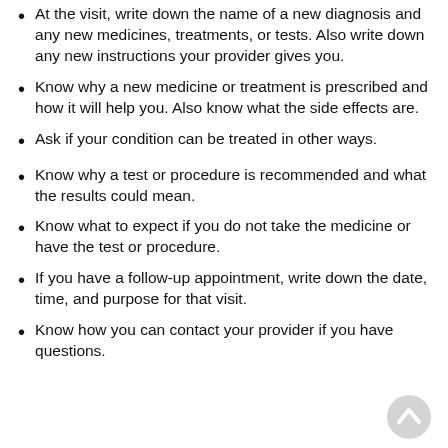At the visit, write down the name of a new diagnosis and any new medicines, treatments, or tests. Also write down any new instructions your provider gives you.
Know why a new medicine or treatment is prescribed and how it will help you. Also know what the side effects are.
Ask if your condition can be treated in other ways.
Know why a test or procedure is recommended and what the results could mean.
Know what to expect if you do not take the medicine or have the test or procedure.
If you have a follow-up appointment, write down the date, time, and purpose for that visit.
Know how you can contact your provider if you have questions.